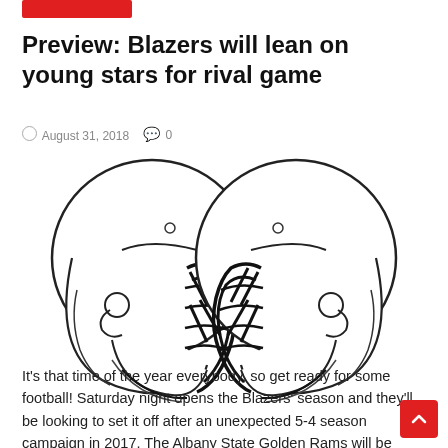Preview: Blazers will lean on young stars for rival game
August 31, 2018   0
[Figure (illustration): Two black-and-white line-art football helmets facing each other from opposite sides, their faceguards nearly touching in the center, on a white background.]
It's that time of the year everybody, so get ready for some football! Saturday night opens the Blazers' season and they'll be looking to set it off after an unexpected 5-4 season campaign in 2017. The Albany State Golden Rams will be coming to Bazemore-Hyder Stadium